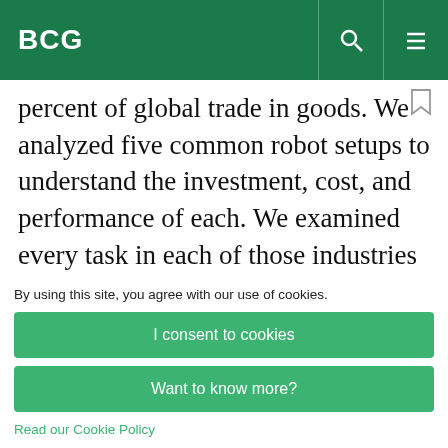BCG
percent of global trade in goods. We analyzed five common robot setups to understand the investment, cost, and performance of each. We examined every task in each of those industries to determine whether it could be replaced or augmented by advanced robotics or whether it
By using this site, you agree with our use of cookies.
I consent to cookies
Want to know more?
Read our Cookie Policy